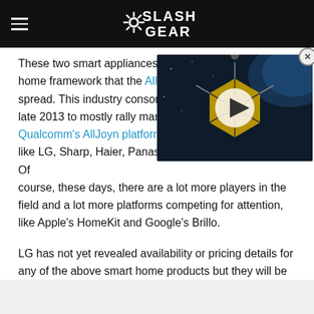SlashGear
[Figure (screenshot): Video player overlay showing a space telescope (James Webb) with a yellow hexagonal mirror, Earth in background. Play button visible in center. Close button in top right corner.]
These two smart appliances a[re using the smart] home framework that the Alls[een Alliance has helped] spread. This industry consort[ium was founded in] late 2013 to mostly rally manufacturer's around Qualcomm's AllJoyn platform, particularly companies like LG, Sharp, Haier, Panasonic, HTC, Ciso, and more. Of course, these days, there are a lot more players in the field and a lot more platforms competing for attention, like Apple's HomeKit and Google's Brillo.
LG has not yet revealed availability or pricing details for any of the above smart home products but they will be